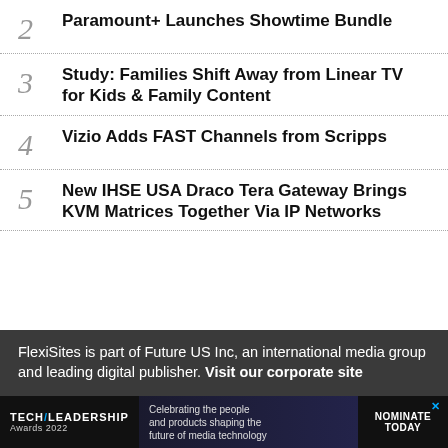2 Paramount+ Launches Showtime Bundle
3 Study: Families Shift Away from Linear TV for Kids & Family Content
4 Vizio Adds FAST Channels from Scripps
5 New IHSE USA Draco Tera Gateway Brings KVM Matrices Together Via IP Networks
FlexiSites is part of Future US Inc, an international media group and leading digital publisher. Visit our corporate site
[Figure (infographic): Tech Leadership Awards 2022 advertisement banner: Celebrating the people and products shaping the future of media technology. Nominate Today.]